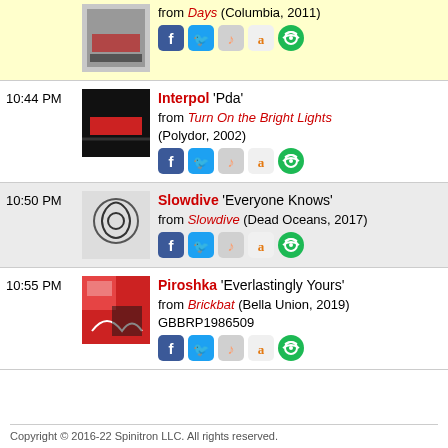from Days (Columbia, 2011)
10:44 PM – Interpol 'Pda' from Turn On the Bright Lights (Polydor, 2002)
10:50 PM – Slowdive 'Everyone Knows' from Slowdive (Dead Oceans, 2017)
10:55 PM – Piroshka 'Everlastingly Yours' from Brickbat (Bella Union, 2019) GBBRP1986509
Copyright © 2016-22 Spinitron LLC. All rights reserved.